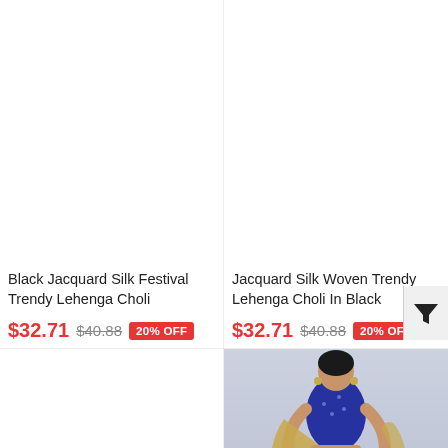[Figure (photo): Product image area for Black Jacquard Silk Festival Trendy Lehenga Choli (top-left, image not visible/white)]
Black Jacquard Silk Festival Trendy Lehenga Choli
$32.71  $40.88  20% OFF
[Figure (photo): Product image area for Jacquard Silk Woven Trendy Lehenga Choli In Black (top-right, image not visible/white)]
Jacquard Silk Woven Trendy Lehenga Choli In Black
$32.71  $40.88  20% OFF
[Figure (photo): Product card bottom-left, white image area with heart icon]
[Figure (photo): Product photo bottom-right: woman wearing blue embroidered lehenga choli with teal skirt and dupatta, with heart icon overlay]